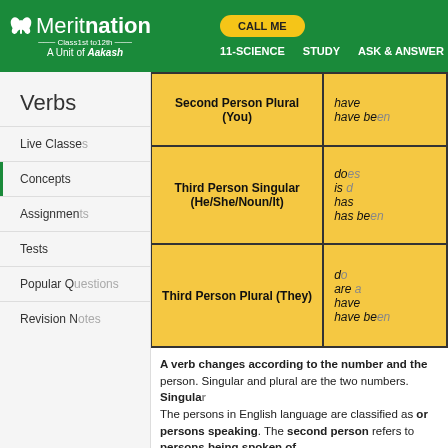Meritnation – Class 1st to 12th – A Unit of Aakash | CALL ME | 11-SCIENCE | STUDY | ASK & ANSWER
Verbs
Live Classes
Concepts
Assignments
Tests
Popular Q&A
Revision Notes
| Person | Forms |
| --- | --- |
| Second Person Plural (You) | have / have been |
| Third Person Singular (He/She/Noun/It) | does / is / has / has been |
| Third Person Plural (They) | do / are / have / have been |
A verb changes according to the number and the person. Singular and plural are the two numbers. Singular… The persons in English language are classified as …or persons speaking. The second person refers to… persons being spoken of. The following table lists the singular and plural forms…
|  | First Person | Second Person | Third Person |
| --- | --- | --- | --- |
| Singular |  | You | He/She/N... |